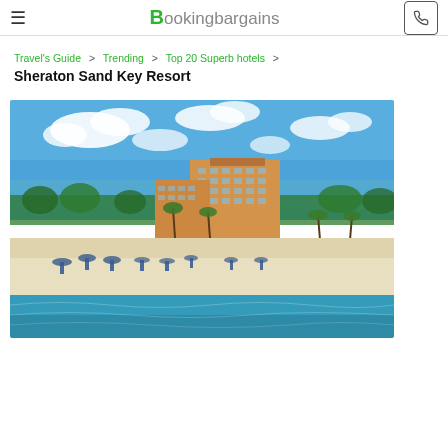≡  BookingBargains  [phone icon]
Travel's Guide > Trending > Top 20 Superb hotels >
Sheraton Sand Key Resort
[Figure (photo): Aerial/waterfront view of Sheraton Sand Key Resort, a large orange multi-story hotel building on a white sandy beach with blue water in the foreground, palm trees, beach chairs, and a clear blue sky with clouds in the background.]